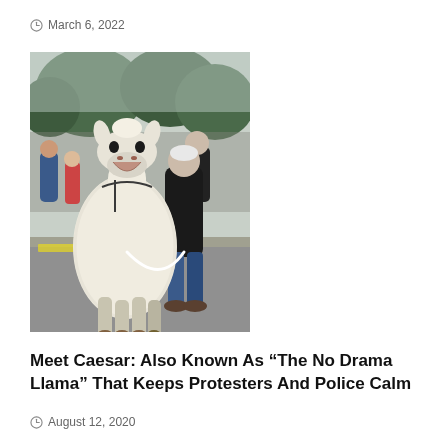March 6, 2022
[Figure (photo): A white llama on a leash standing at a street protest or public gathering. The llama faces the camera with its mouth open. An older man in a black hoodie and jeans holds its leash from behind. A crowd of people and trees are visible in the background.]
Meet Caesar: Also Known As “The No Drama Llama” That Keeps Protesters And Police Calm
August 12, 2020